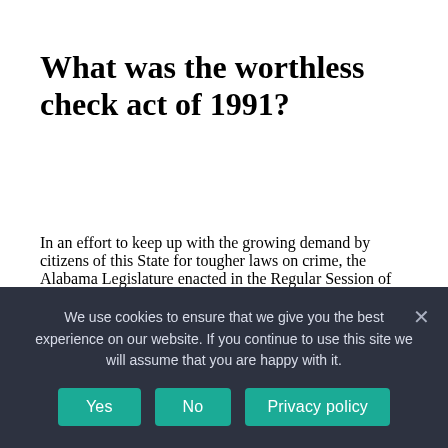What was the worthless check act of 1991?
In an effort to keep up with the growing demand by citizens of this State for tougher laws on crime, the Alabama Legislature enacted in the Regular Session of 1991, the Worthless Check Act" (Act. No. 91-319), to deter and prosecute persons who violate the law by negotiating bad checks and other forms of negotiable instruments
We use cookies to ensure that we give you the best experience on our website. If you continue to use this site we will assume that you are happy with it.